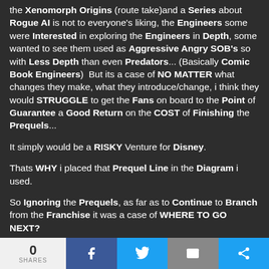the Xenomorph Origins (route take)and a Series about Rogue AI is not to everyone's liking, the Engineers some were Interested in exploring the Engineers in Depth, some wanted to see them used as Aggressive Angry SOB's so with Less Depth than even Predators... (Basically Comic Book Engineers)  But its a case of NO MATTER what changes they make, what they introduce/change, i think they would STRUGGLE to get the Fans on board to the Point of Guarantee a Good Return on the COST of Finishing the Prequels...
It simply would be a RISKY Venture for Disney.
Thats WHY i placed that Prequel Line in the Diagram i used.
So Ignoring the Prequels, as far as to Continue to Branch from the Franchise it was a case of WHERE TO GO NEXT?
0 SHARES | Facebook | Twitter | Email | Share